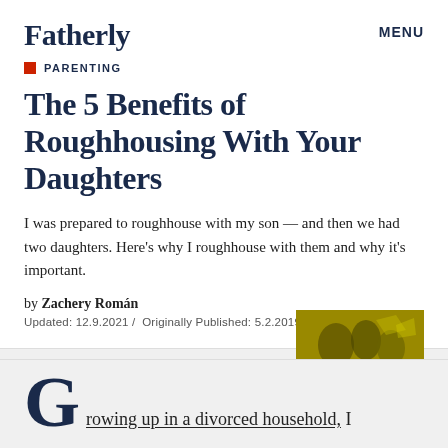Fatherly    MENU
PARENTING
The 5 Benefits of Roughhousing With Your Daughters
I was prepared to roughhouse with my son — and then we had two daughters. Here's why I roughhouse with them and why it's important.
by Zachery Román
Updated: 12.9.2021 / Originally Published: 5.2.2019
[Figure (photo): Dark yellowish-tinted photo of people roughhousing or playing]
Growing up in a divorced household, I